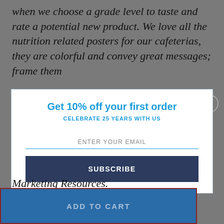when we choose a grade level to taste and rate a potential new product. We love all the nutrition related posters for our cafeterias, they are colorful and convey great messages; frame them
[Figure (screenshot): Email subscription popup modal with 'Get 10% off your first order' heading, 'CELEBRATE 25 YEARS WITH US' subheading, email input field, and SUBSCRIBE button]
Marketing Resources.
ADD TO CART